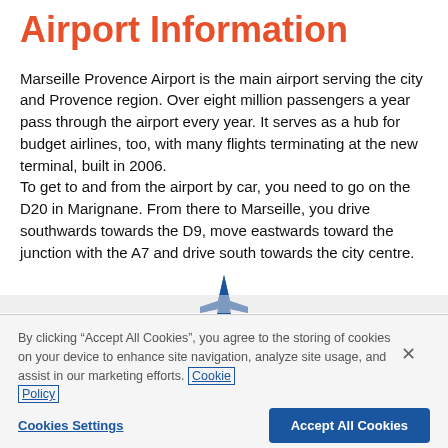Airport Information
Marseille Provence Airport is the main airport serving the city and Provence region. Over eight million passengers a year pass through the airport every year. It serves as a hub for budget airlines, too, with many flights terminating at the new terminal, built in 2006.
To get to and from the airport by car, you need to go on the D20 in Marignane. From there to Marseille, you drive southwards towards the D9, move eastwards toward the junction with the A7 and drive south towards the city centre.
[Figure (illustration): Blue airplane silhouette icon viewed from front]
By clicking “Accept All Cookies”, you agree to the storing of cookies on your device to enhance site navigation, analyze site usage, and assist in our marketing efforts. Cookie Policy
Cookies Settings | Accept All Cookies